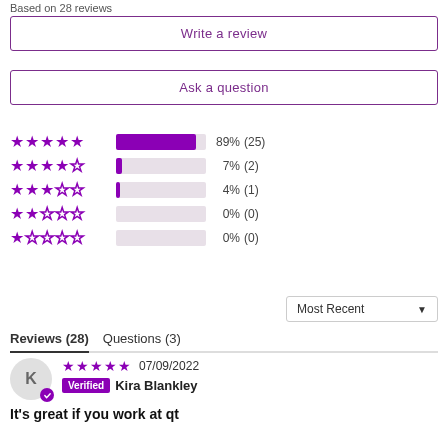Based on 28 reviews
Write a review
Ask a question
[Figure (bar-chart): Rating distribution]
Most Recent
Reviews (28)  Questions (3)
07/09/2022  Verified  Kira Blankley
It's great if you work at qt